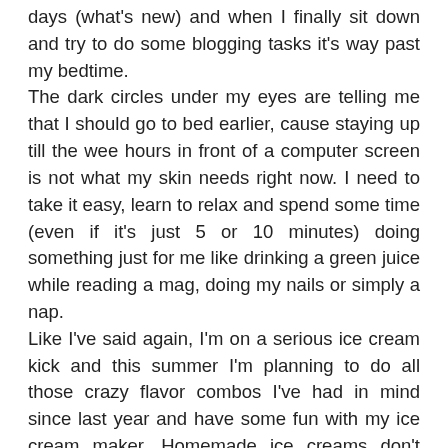days (what's new) and when I finally sit down and try to do some blogging tasks it's way past my bedtime.
The dark circles under my eyes are telling me that I should go to bed earlier, cause staying up till the wee hours in front of a computer screen is not what my skin needs right now. I need to take it easy, learn to relax and spend some time (even if it's just 5 or 10 minutes) doing something just for me like drinking a green juice while reading a mag, doing my nails or simply a nap.
Like I've said again, I'm on a serious ice cream kick and this summer I'm planning to do all those crazy flavor combos I've had in mind since last year and have some fun with my ice cream maker. Homemade ice creams don't contain those indecent amounts of sugar, syrups and unhealthy fats; plus if you choose the right ingredients they can actually be good for you.
I love the simplicity of this vanilla ice cream: it's super easy to make, you can add whatever topping you desire cause it pairs well... (text continues)